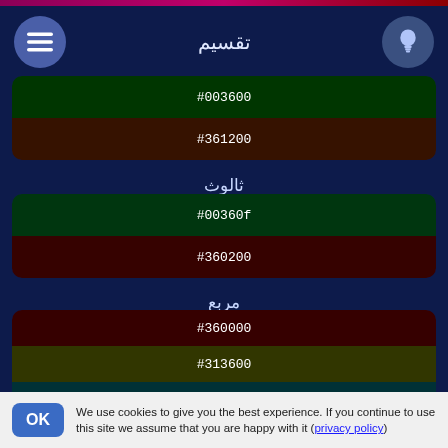تقسيم
[Figure (infographic): Color swatches for تقسيم section: #003600 (dark green) and #361200 (dark brown)]
ثالوث
[Figure (infographic): Color swatches for ثالوث section: #00360f (dark green) and #360200 (dark red)]
مربع
[Figure (infographic): Color swatches for مربع section: #360000 (dark red), #313600 (olive), #003136 (dark teal)]
رباعي
We use cookies to give you the best experience. If you continue to use this site we assume that you are happy with it (privacy policy)